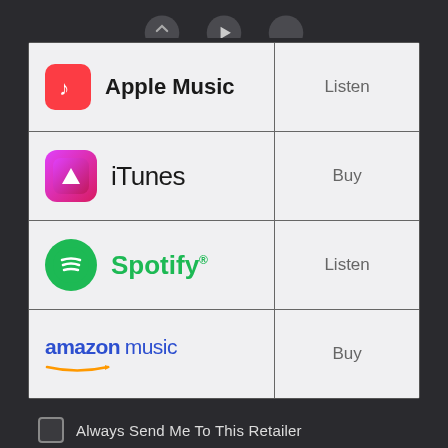[Figure (screenshot): Top partial view of circular media player control buttons on dark background]
| Service | Action |
| --- | --- |
| Apple Music | Listen |
| iTunes | Buy |
| Spotify | Listen |
| amazon music | Buy |
Always Send Me To This Retailer
Sponsored